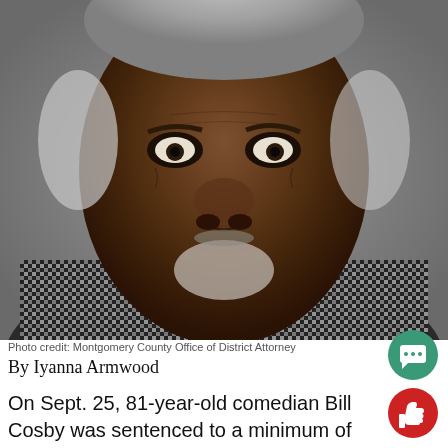[Figure (photo): Mugshot-style close-up portrait photograph of an elderly Black man wearing a black-and-white patterned jacket, gray background. Photo credit to Montgomery County Office of District Attorney.]
Photo credit: Montgomery County Office of District Attorney
By Iyanna Armwood
On Sept. 25, 81-year-old comedian Bill Cosby was sentenced to a minimum of three years and a maximum 10